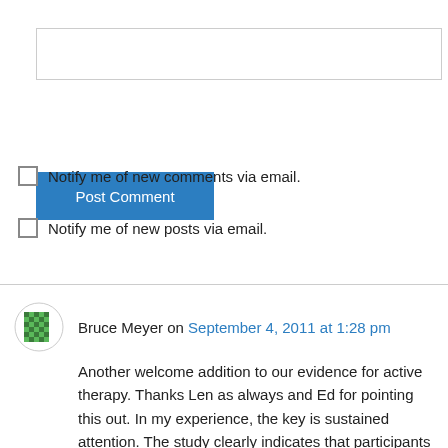[Figure (other): Empty text input box for comment entry]
Post Comment
Notify me of new comments via email.
Notify me of new posts via email.
Bruce Meyer on September 4, 2011 at 1:28 pm
Another welcome addition to our evidence for active therapy. Thanks Len as always and Ed for pointing this out. In my experience, the key is sustained attention. The study clearly indicates that participants were actively engaged in the video games. This principal of engagement is a